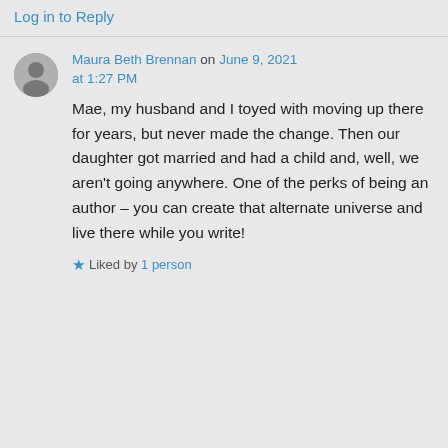Log in to Reply
Maura Beth Brennan on June 9, 2021 at 1:27 PM
Mae, my husband and I toyed with moving up there for years, but never made the change. Then our daughter got married and had a child and, well, we aren't going anywhere. One of the perks of being an author – you can create that alternate universe and live there while you write!
Liked by 1 person